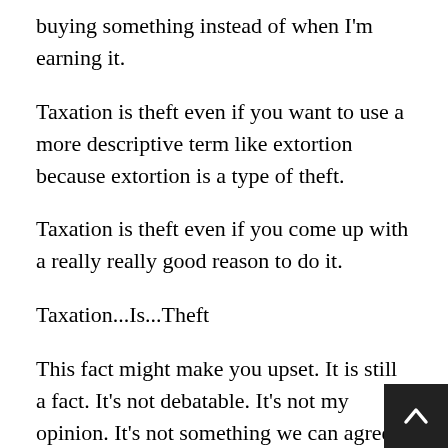buying something instead of when I'm earning it.
Taxation is theft even if you want to use a more descriptive term like extortion because extortion is a type of theft.
Taxation is theft even if you come up with a really really good reason to do it.
Taxation...Is...Theft
This fact might make you upset. It is still a fact. It's not debatable. It's not my opinion. It's not something we can agree to disagree on. I can agree to be right and to let you be wrong because taxation is factually theft.
So, how do we pay for all the things we need without taxation? The answer is voluntary funding. This ma sound like wishful thinking at first but that's only